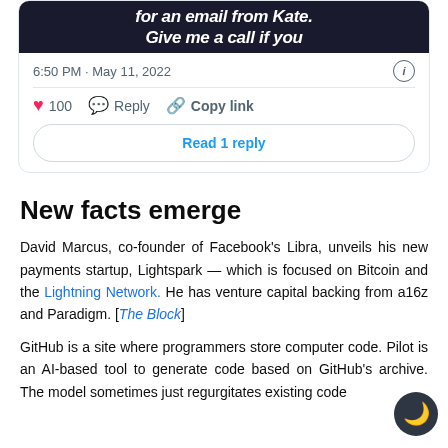[Figure (screenshot): Tweet card showing image with text 'Give me a call if you' and timestamp 6:50 PM · May 11, 2022, with 100 likes, Reply, Copy link actions, and Read 1 reply button]
New facts emerge
David Marcus, co-founder of Facebook's Libra, unveils his new payments startup, Lightspark — which is focused on Bitcoin and the Lightning Network. He has venture capital backing from a16z and Paradigm. [The Block]
GitHub is a site where programmers store computer code. Pilot is an AI-based tool to generate code based on GitHub's archive. The model sometimes just regurgitates existing code